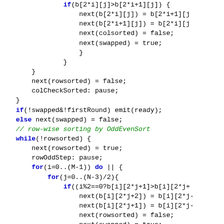[Figure (other): Source code listing showing sorting algorithm implementation with keywords highlighted in blue and comments in green]